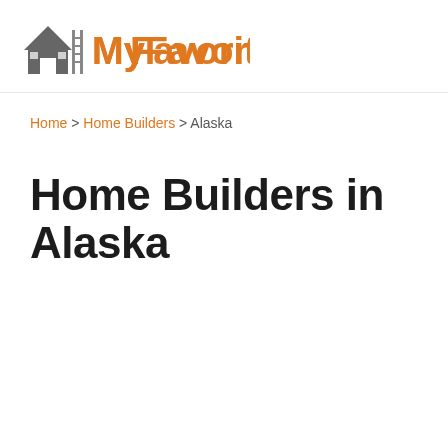MyFavoriteBuilder
Home > Home Builders > Alaska
Home Builders in Alaska